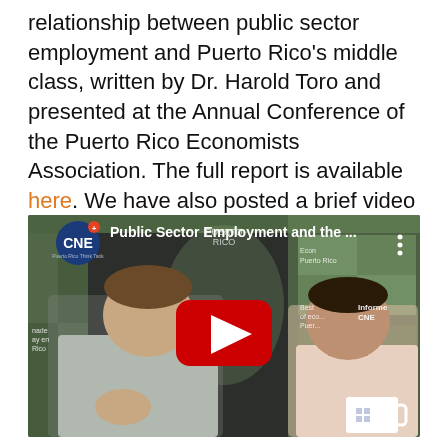relationship between public sector employment and Puerto Rico's middle class, written by Dr. Harold Toro and presented at the Annual Conference of the Puerto Rico Economists Association. The full report is available here. We have also posted a brief video commentary, in Spanish, which explains the most important findings of the report.
[Figure (screenshot): YouTube video thumbnail showing two men seated at a table in a studio with green CNE branded panels in the background. The video title reads 'Public Sector Employment and the ...' with a CNE logo in the top left and a red YouTube play button in the center.]